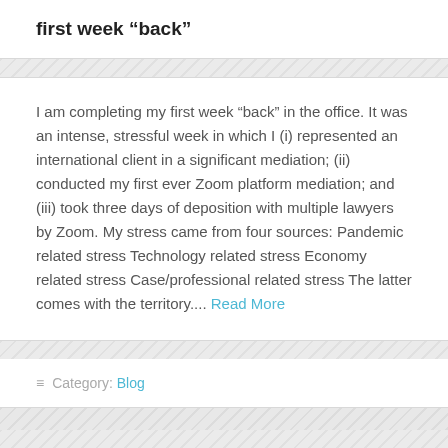first week “back”
I am completing my first week “back” in the office. It was an intense, stressful week in which I (i) represented an international client in a significant mediation; (ii) conducted my first ever Zoom platform mediation; and (iii) took three days of deposition with multiple lawyers by Zoom. My stress came from four sources: Pandemic related stress Technology related stress Economy related stress Case/professional related stress The latter comes with the territory.... Read More
≡ Category: Blog
working our way through